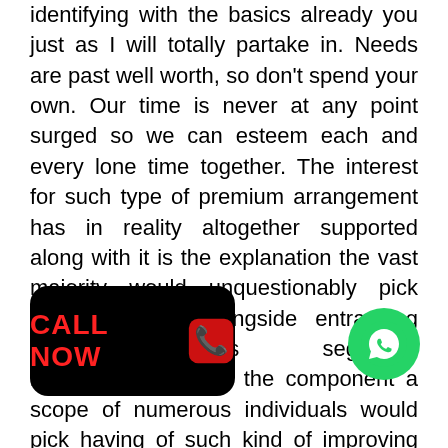identifying with the basics already you just as I will totally partake in. Needs are past well worth, so don't spend your own. Our time is never at any point surged so we can esteem each and every lone time together. The interest for such type of premium arrangement has in reality altogether supported along with it is the explanation the vast majority would unquestionably pick having of rich alongside entrancing cure vigorous segments notwithstanding it is the component a scope of numerous individuals would pick having of such kind of improving part baseding on the need. Dhubri Call Girls Services is where a few different other mind boggling decisions would totally at present existing provided and it is the viewpoint most the moment incredible would completely pick having of satisfaction alongside superb furthermore. Nowadays one would come advantages of the Dhubri Escorts Services
[Figure (other): Black rounded rectangle button with red CALL NOW text and a red phone handset icon on right side]
[Figure (other): Green circular WhatsApp button with white WhatsApp logo]